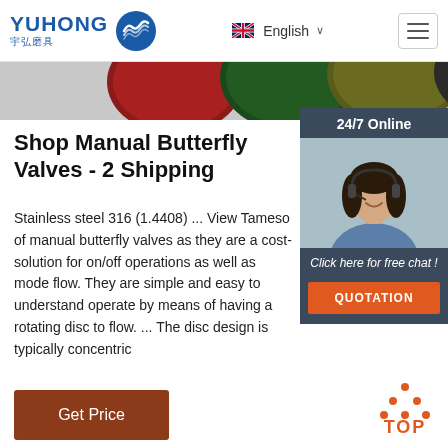YUHONG 宇弘磨具 — English — (menu)
[Figure (photo): Colored abrasive/polishing discs in red, green, olive, and dark gray arranged in a row, partially visible at top of page]
[Figure (photo): 24/7 Online chat widget with photo of smiling woman wearing headset, over dark blue-gray background, with 'Click here for free chat!' text and orange QUOTATION button]
Shop Manual Butterfly Valves - 2 Shipping
Stainless steel 316 (1.4408) ... View Tameso of manual butterfly valves as they are a cost- solution for on/off operations as well as mode flow. They are simple and easy to understand operate by means of having a rotating disc to flow. ... The disc design is typically concentric
[Figure (other): Get Price brown/rust colored button]
[Figure (other): Orange TOP back-to-top button with dot triangle icon]